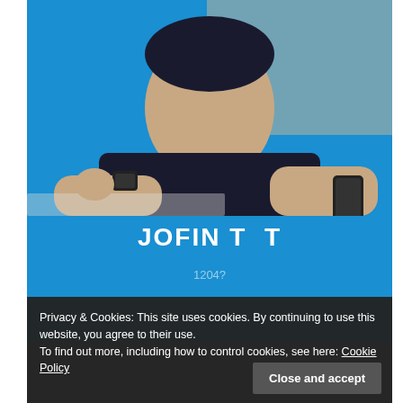[Figure (photo): Profile photo of a young man in dark clothing leaning on a surface, wearing a watch and holding a mobile phone, set against a blue background.]
JOFIN T  T
1204?
Privacy & Cookies: This site uses cookies. By continuing to use this website, you agree to their use.
To find out more, including how to control cookies, see here: Cookie Policy
Close and accept